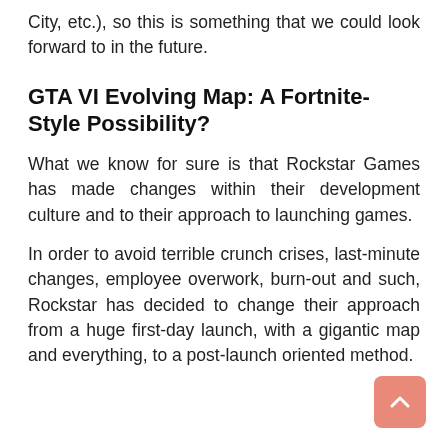City, etc.), so this is something that we could look forward to in the future.
GTA VI Evolving Map: A Fortnite-Style Possibility?
What we know for sure is that Rockstar Games has made changes within their development culture and to their approach to launching games.
In order to avoid terrible crunch crises, last-minute changes, employee overwork, burn-out and such, Rockstar has decided to change their approach from a huge first-day launch, with a gigantic map and everything, to a post-launch oriented method.
[Figure (other): Scroll-to-top button, salmon/pink rounded square with upward chevron arrow icon]